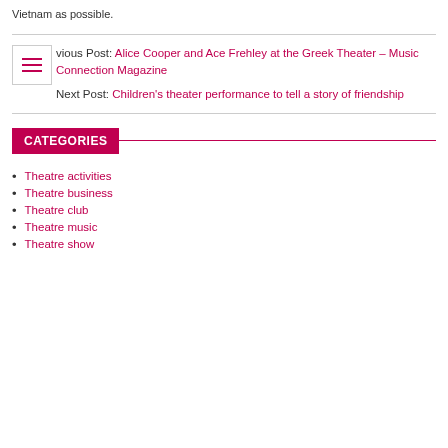Vietnam as possible.
Previous Post: Alice Cooper and Ace Frehley at the Greek Theater – Music Connection Magazine
Next Post: Children's theater performance to tell a story of friendship
CATEGORIES
Theatre activities
Theatre business
Theatre club
Theatre music
Theatre show